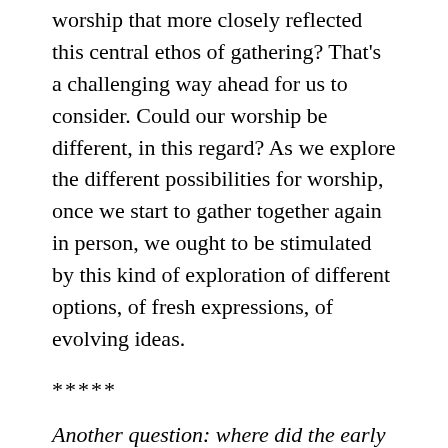worship that more closely reflected this central ethos of gathering? That's a challenging way ahead for us to consider. Could our worship be different, in this regard? As we explore the different possibilities for worship, once we start to gather together again in person, we ought to be stimulated by this kind of exploration of different options, of fresh expressions, of evolving ideas.
*****
Another question: where did the early followers of Jesus gather? Luke's account of the early church in Jerusalem indicates that they met in homes on a daily basis (Acts 2:46; 5:42). Commentators on the letters in the New Testament have made it clear that they also gathered in the homes of...